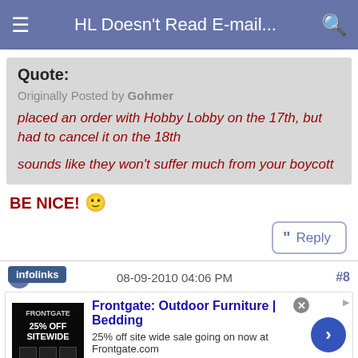HL Doesn't Read E-mail...
Quote:
Originally Posted by Gohmer
placed an order with Hobby Lobby on the 17th, but had to cancel it on the 18th

sounds like they won't suffer much from your boycott
BE NICE! 🙂
#8
08-09-2010 04:06 PM
[Figure (screenshot): Advertisement for Frontgate: Outdoor Furniture | Bedding with 25% off site wide sale, image of dark product display, frontgate.com URL]
Frontgate: Outdoor Furniture | Bedding
25% off site wide sale going on now at Frontgate.com
frontgate.com